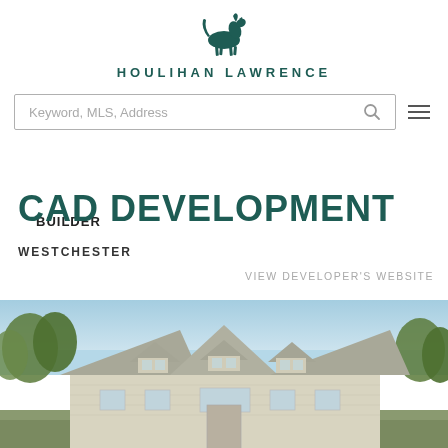[Figure (logo): Houlihan Lawrence logo with a running horse above the text HOULIHAN LAWRENCE in teal/dark green]
[Figure (screenshot): Search bar with placeholder text 'Keyword, MLS, Address' and a search icon, plus a hamburger menu icon]
BUILDER
CAD DEVELOPMENT
WESTCHESTER
VIEW DEVELOPER'S WEBSITE
[Figure (photo): Exterior photo of a large colonial-style house with dormers, light gray siding, white trim, blue sky and green trees in background]